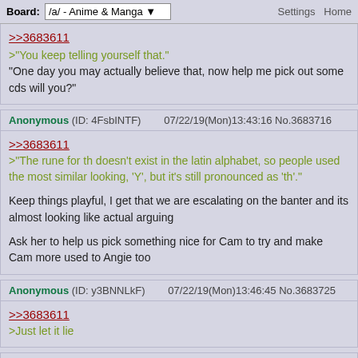Board: /a/ - Anime & Manga  Settings  Home
>>3683611
>"You keep telling yourself that."
"One day you may actually believe that, now help me pick out some cds will you?"
Anonymous (ID: 4FsbINTF)  07/22/19(Mon)13:43:16 No.3683716
>>3683611
>"The rune for th doesn't exist in the latin alphabet, so people used the most similar looking, 'Y', but it's still pronounced as 'th'."

Keep things playful, I get that we are escalating on the banter and its almost looking like actual arguing

Ask her to help us pick something nice for Cam to try and make Cam more used to Angie too
Anonymous (ID: y3BNNLkF)  07/22/19(Mon)13:46:45 No.3683725
>>3683611
>Just let it lie
Person of Interest 7 !safqgE70f2 (ID: LqBMGgu8)